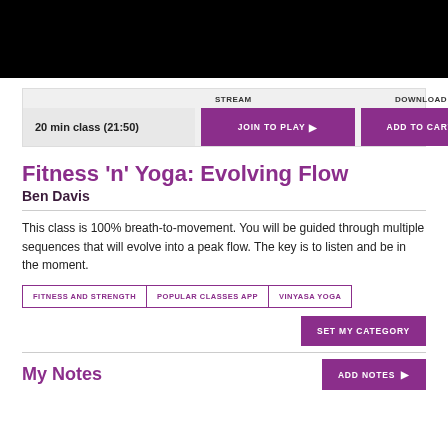[Figure (photo): Black video banner / thumbnail placeholder at top of page]
|  | STREAM | DOWNLOAD |
| --- | --- | --- |
| 20 min class (21:50) | JOIN TO PLAY ▶ | ADD TO CART ▶  $ 4.99 |
Fitness 'n' Yoga: Evolving Flow
Ben Davis
This class is 100% breath-to-movement. You will be guided through multiple sequences that will evolve into a peak flow. The key is to listen and be in the moment.
FITNESS AND STRENGTH
POPULAR CLASSES APP
VINYASA YOGA
SET MY CATEGORY
My Notes
ADD NOTES